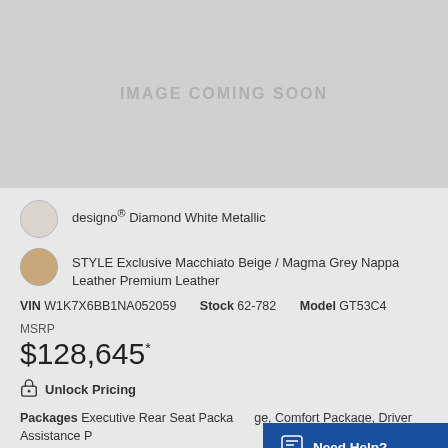[Figure (photo): Image placeholder with text 'IMAGE COMING SOON' on grey background]
designo® Diamond White Metallic
STYLE Exclusive Macchiato Beige / Magma Grey Nappa Leather Premium Leather
VIN W1K7X6BB1NA052059   Stock 62-782   Model GT53C4
MSRP
$128,645*
Unlock Pricing
Packages Executive Rear Seat Package, Comfort Package, Driver Assistance Package
Options Soft Close, Power Heated Rear Seat, and more